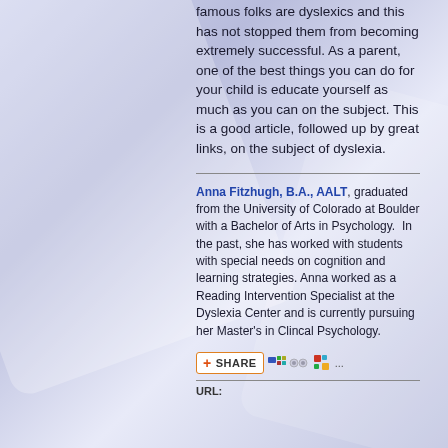famous folks are dyslexics and this has not stopped them from becoming extremely successful. As a parent, one of the best things you can do for your child is educate yourself as much as you can on the subject. This is a good article, followed up by great links, on the subject of dyslexia.
Anna Fitzhugh, B.A., AALT, graduated from the University of Colorado at Boulder with a Bachelor of Arts in Psychology. In the past, she has worked with students with special needs on cognition and learning strategies. Anna worked as a Reading Intervention Specialist at the Dyslexia Center and is currently pursuing her Master's in Clincal Psychology.
[Figure (other): Share button bar with social sharing icons]
URL: